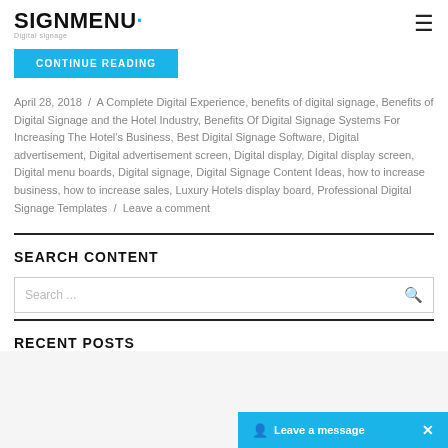SIGNMENU· Digital Signage
CONTINUE READING
April 28, 2018 / A Complete Digital Experience, benefits of digital signage, Benefits of Digital Signage and the Hotel Industry, Benefits Of Digital Signage Systems For Increasing The Hotel's Business, Best Digital Signage Software, Digital advertisement, Digital advertisement screen, Digital display, Digital display screen, Digital menu boards, Digital signage, Digital Signage Content Ideas, how to increase business, how to increase sales, Luxury Hotels display board, Professional Digital Signage Templates / Leave a comment
SEARCH CONTENT
Search ...
RECENT POSTS
Leave a message